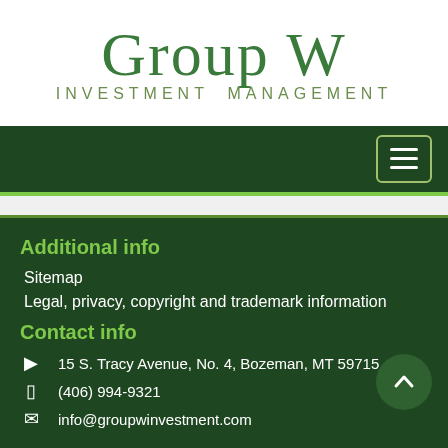[Figure (logo): Group W Investment Management logo with large green serif text 'Group W' and smaller spaced green sans-serif 'INVESTMENT MANAGEMENT']
[Figure (screenshot): Dark green navigation bar with hamburger menu button (three horizontal lines) on the right side, with a green accent line below]
Additional info
Sitemap
Legal, privacy, copyright and trademark information
Contact info
15 S. Tracy Avenue, No. 4, Bozeman, MT 59715
(406) 994-9321
info@groupwinvestment.com